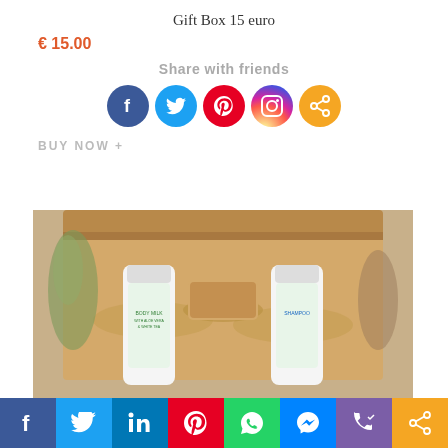Gift Box 15 euro
€ 15.00
Share with friends
[Figure (infographic): Social share icons: Facebook (blue circle), Twitter (light blue circle), Pinterest (red circle), Instagram (gradient red-purple circle), Share (orange circle)]
BUY NOW +
[Figure (photo): Open kraft gift box containing two labeled bottles (Body Milk with Aloe Vera and White Tea, Shampoo with ingredients) and a bar soap, nestled in paper shreds. Dried lavender and flowers in background.]
[Figure (infographic): Bottom social sharing toolbar with icons: Facebook (blue), Twitter (blue), LinkedIn (blue), Pinterest (red), WhatsApp (green), Messenger (blue), Phone/share (purple), Share (orange)]